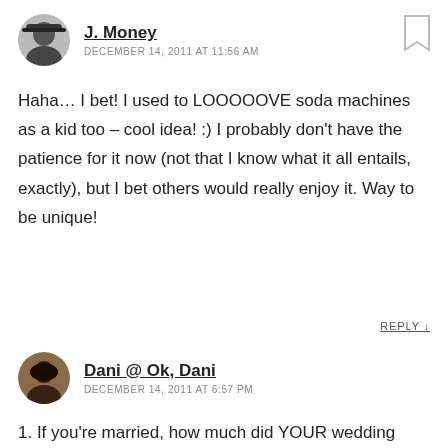[Figure (photo): Circular avatar photo of J. Money, black and white, person wearing hat]
J. Money
DECEMBER 14, 2011 AT 11:56 AM
Haha… I bet! I used to LOOOOOVE soda machines as a kid too – cool idea! :) I probably don't have the patience for it now (not that I know what it all entails, exactly), but I bet others would really enjoy it. Way to be unique!
REPLY ↓
[Figure (photo): Circular avatar photo of Dani @ Ok, Dani, woman with dark hair]
Dani @ Ok, Dani
DECEMBER 14, 2011 AT 6:57 PM
1. If you're married, how much did YOUR wedding cost?